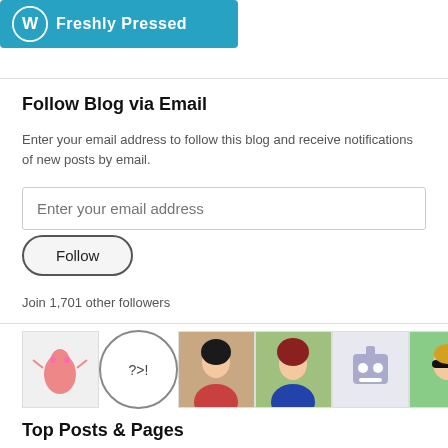[Figure (logo): WordPress Freshly Pressed banner with blue background, WordPress logo and text 'Freshly Pressed']
Follow Blog via Email
Enter your email address to follow this blog and receive notifications of new posts by email.
[Figure (screenshot): Email input field with placeholder text 'Enter your email address']
[Figure (screenshot): Follow button with rounded border]
Join 1,701 other followers
[Figure (photo): Row of follower avatar images: cartoon alien, text symbol avatar, woman with dark hair, woman with red hair, robot avatar, woman with sunglasses, woman with reddish hair, woman smiling, husky dog]
Top Posts & Pages